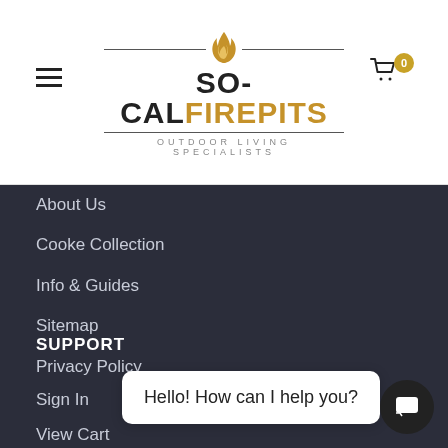[Figure (logo): SO-CAL FIREPITS logo with flame icon and tagline OUTDOOR LIVING SPECIALISTS]
About Us
Cooke Collection
Info & Guides
Sitemap
Privacy Policy
SUPPORT
Sign In
View Cart
Hello! How can I help you?